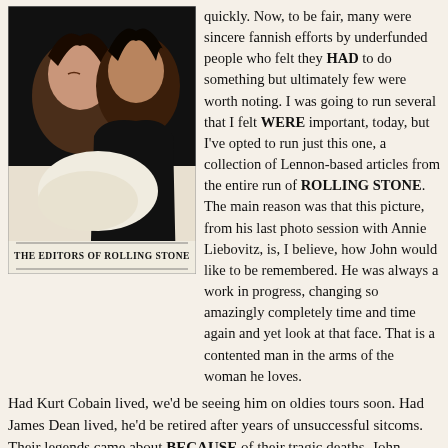[Figure (photo): Book cover showing two people lying down embracing, with caption 'THE EDITORS OF ROLLING STONE' at the bottom]
quickly. Now, to be fair, many were sincere fannish efforts by underfunded people who felt they HAD to do something but ultimately few were worth noting. I was going to run several that I felt WERE important, today, but I've opted to run just this one, a collection of Lennon-based articles from the entire run of ROLLING STONE. The main reason was that this picture, from his last photo session with Annie Liebovitz, is, I believe, how John would like to be remembered. He was always a work in progress, changing so amazingly completely time and time again and yet look at that face. That is a contented man in the arms of the woman he loves.
Had Kurt Cobain lived, we'd be seeing him on oldies tours soon. Had James Dean lived, he'd be retired after years of unsuccessful sitcoms. Their legends came about BECAUSE of their tragic deaths. John Lennon's legend existed long before and long after.